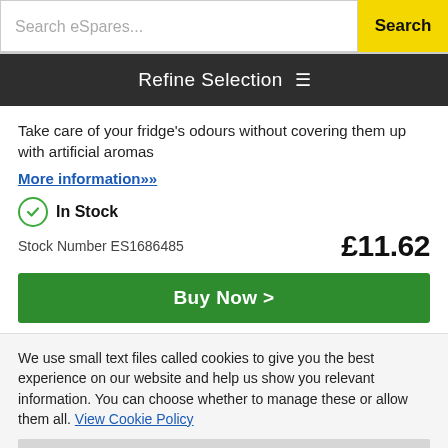Search eSpares...  Search
Refine Selection
Take care of your fridge's odours without covering them up with artificial aromas
More information»
In Stock
Stock Number ES1686485  £11.62
Buy Now >
We use small text files called cookies to give you the best experience on our website and help us show you relevant information. You can choose whether to manage these or allow them all. View Cookie Policy
Manage Cookies
Allow All